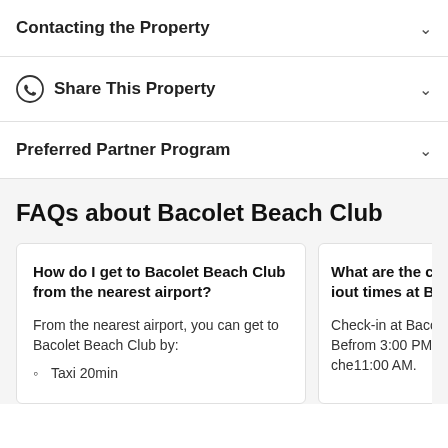Contacting the Property
Share This Property
Preferred Partner Program
FAQs about Bacolet Beach Club
How do I get to Bacolet Beach Club from the nearest airport?
From the nearest airport, you can get to Bacolet Beach Club by:
Taxi 20min
What are the check-in and check-out times at Bacolet
Check-in at Bacolet Beach Club is from 3:00 PM, and check-out is at 11:00 AM.